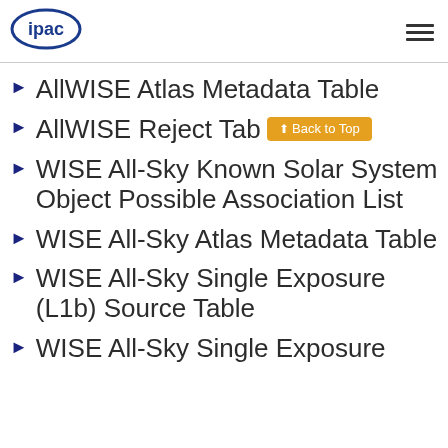ipac [logo] [hamburger menu]
AllWISE Atlas Metadata Table
AllWISE Reject Table [Back to Top button]
WISE All-Sky Known Solar System Object Possible Association List
WISE All-Sky Atlas Metadata Table
WISE All-Sky Single Exposure (L1b) Source Table
WISE All-Sky Single Exposure